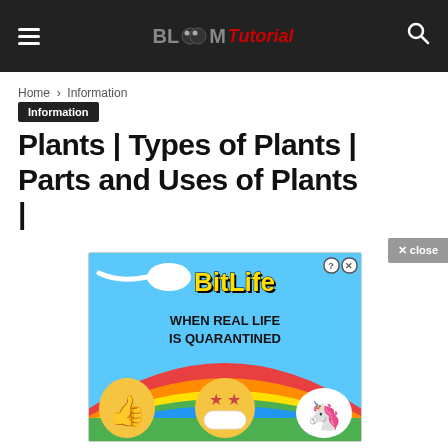BLOOM Tutorial
Home › Information
Information
Plants | Types of Plants | Parts and Uses of Plants |
[Figure (screenshot): BitLife advertisement banner: 'BitLife - WHEN REAL LIFE IS QUARANTINED' with colorful rainbow and emoji characters including a masked face emoji with star eyes and a unicorn. Has close button.]